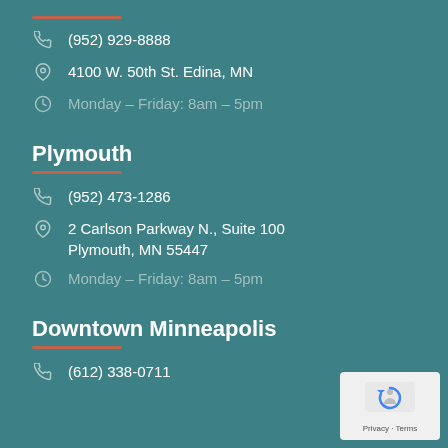(952) 929-8888
4100 W. 50th St. Edina, MN
Monday – Friday: 8am – 5pm
Plymouth
(952) 473-1286
2 Carlson Parkway N., Suite 100 Plymouth, MN 55447
Monday – Friday: 8am – 5pm
Downtown Minneapolis
(612) 338-0711
[Figure (logo): Google reCAPTCHA badge with Privacy and Terms text]